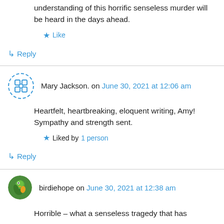understanding of this horrific senseless murder will be heard in the days ahead.
★ Like
↳ Reply
Mary Jackson. on June 30, 2021 at 12:06 am
Heartfelt, heartbreaking, eloquent writing, Amy! Sympathy and strength sent.
★ Liked by 1 person
↳ Reply
birdiehope on June 30, 2021 at 12:38 am
Horrible – what a senseless tragedy that has